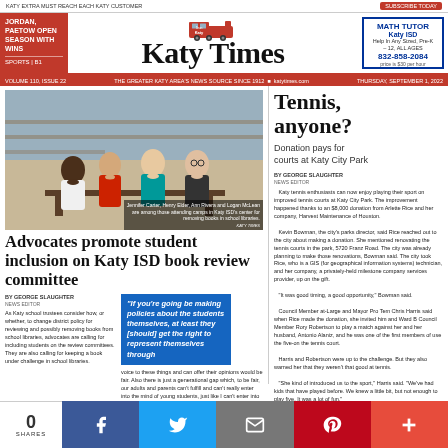KATY EXTRA MUST REACH EACH KATY CUSTOMER
JORDAN, PAETOW OPEN SEASON WITH WINS | SPORTS | B1
Katy Times
MATH TUTOR Katy ISD | 832-858-2084
VOLUME 110, ISSUE 22 · THE GREATER KATY AREA'S NEWS SOURCE SINCE 1912 · katytimes.com · THURSDAY, SEPTEMBER 1, 2022
[Figure (photo): Four students sitting at a table in what appears to be a school library. Caption: Jennifer Carter, Henry Elder, Ann Rivera and Logan McLean are among those attending camps in Katy ISD's center for removing books in school libraries.]
Advocates promote student inclusion on Katy ISD book review committee
BY GEORGE SLAUGHTER NEWS EDITOR
As Katy school trustees consider how, or whether, to change district policy for reviewing and possibly removing books from school libraries, advocates are calling for including students on the review committees. They are also calling for keeping a book under challenge in school libraries.
"If you're going be making policies about the students themselves, at least they [should] get the right to represent themselves through
voice to these things and can offer their opinions would be fair. Also there is just a generational gap which, to be fair, our adults and parents can't fulfill and can't really enter into the mind of young students, just like I can't enter into the mind of a grown adult. So, if you're going be making policies about the students themselves, at least they get the right to represent themselves through
Tennis, anyone?
Donation pays for courts at Katy City Park
BY GEORGE SLAUGHTER NEWS EDITOR
Katy tennis enthusiasts can now enjoy playing their sport on improved tennis courts at Katy City Park. The improvement happened thanks to an $8,000 donation from Arlette Rice and her company, Harvest Maintenance of Houston. Kevin Bowman, the city's parks director, said Rice reached out to the city about making a donation. She mentioned renovating the tennis courts in the park, 5720 Franz Road. The city was already planning to make those renovations, Bowman said. The city took Rice, who is a GIS (for geographical information systems) technician, and her company, a privately-held milestone company services provider, up on the gift. "It was good timing, a good opportunity," Bowman said.